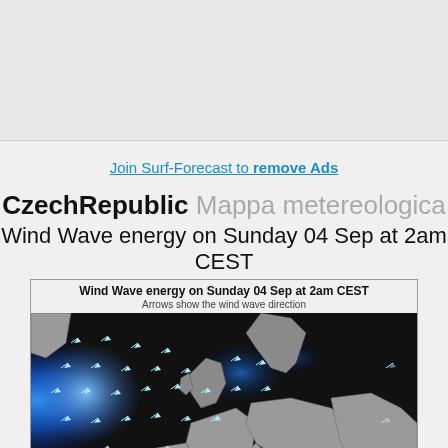Join Surf-Forecast to remove Ads
CzechRepublic Mappa metereologica
Wind Wave energy on Sunday 04 Sep at 2am CEST
[Figure (map): Meteorological map showing Wind Wave energy on Sunday 04 Sep at 2am CEST. Arrows show the wind wave direction. Europe map with dark ocean areas and blue wave energy regions on the Atlantic and North Sea.]